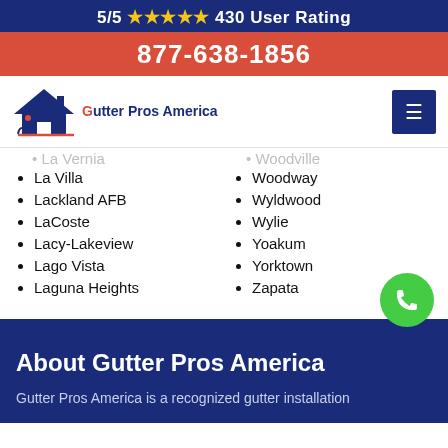5/5 ★★★★★ 430 User Rating
877-638-1856
[Figure (logo): Gutter Pros America logo with house roof icon and company name]
La Vernia
Woodville
La Villa
Woodway
Lackland AFB
Wyldwood
LaCoste
Wylie
Lacy-Lakeview
Yoakum
Lago Vista
Yorktown
Laguna Heights
Zapata
About Gutter Pros America
Gutter Pros America is a recognized gutter installation